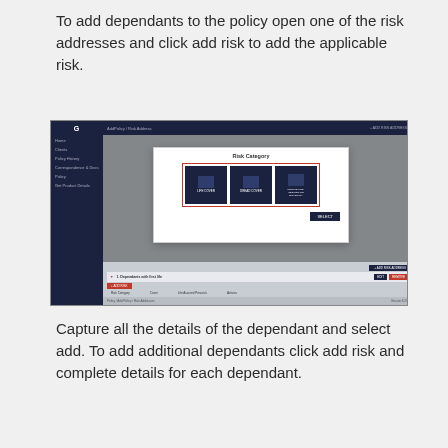To add dependants to the policy open one of the risk addresses and click add risk to add the applicable risk.
[Figure (screenshot): Screenshot of an insurance policy management software interface showing a modal dialog titled 'Risk Category' with three selectable card options (highlighted with a red border selection box around all three), and a 'Select' button. The background shows a policy page with a dark navy sidebar, top navigation bar, and multiple expandable sections with Add Risk buttons.]
Capture all the details of the dependant and select add. To add additional dependants click add risk and complete details for each dependant.